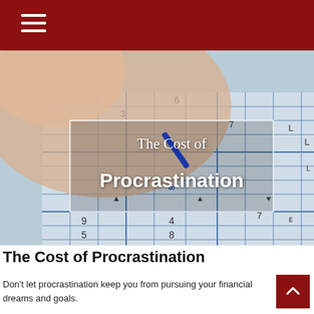[Figure (photo): Close-up photo of a hand holding a blue pen writing on a sudoku puzzle grid, with a white bordered overlay showing the title 'The Cost of Procrastination' in white text]
The Cost of Procrastination
Don't let procrastination keep you from pursuing your financial dreams and goals.